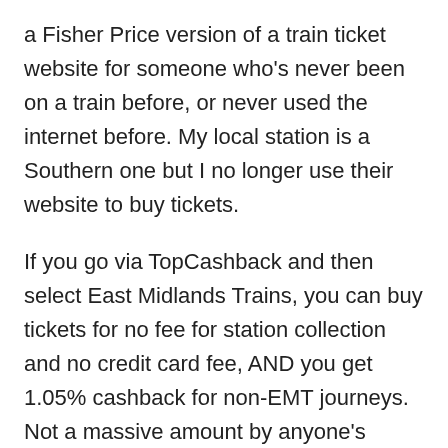a Fisher Price version of a train ticket website for someone who's never been on a train before, or never used the internet before. My local station is a Southern one but I no longer use their website to buy tickets.
If you go via TopCashback and then select East Midlands Trains, you can buy tickets for no fee for station collection and no credit card fee, AND you get 1.05% cashback for non-EMT journeys. Not a massive amount by anyone's reckoning, but it is still free money for buying what you would anyway, and it adds up over a year. Just set up an email rule to dump emails from TopCashback into its their folder. I was expecting TopCashback to be a pain generally, but I've